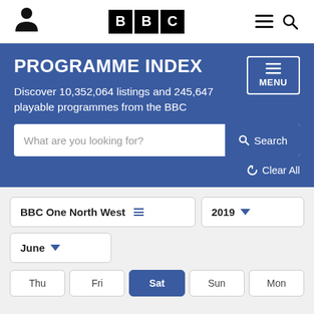BBC Programme Index navigation bar with user icon, BBC logo, menu and search icons
PROGRAMME INDEX
Discover 10,352,064 listings and 245,647 playable programmes from the BBC
What are you looking for? Search
Clear All
BBC One North West 2019
June
Thu Fri Sat Sun Mon